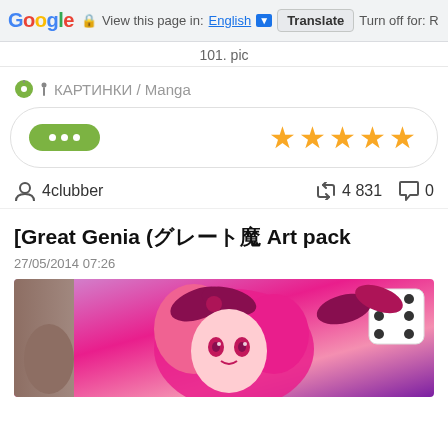Google  View this page in: English [▼]  Translate  Turn off for: R
101. pic
КАРТИНКИ / Manga
[Figure (screenshot): Green pill-shaped menu button with three dots, and five yellow stars rating]
4clubber  4 831  0
[Great Genia (&#12464;&#12524;&#12540;&#12488;&#39764; Art pack
27/05/2014 07:26
[Figure (illustration): Manga/anime illustration showing a pink-haired female character with accessories]